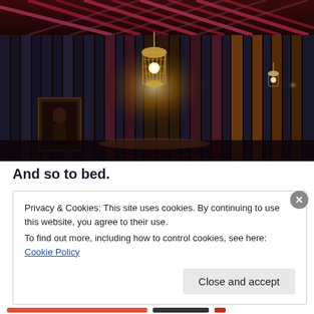[Figure (photo): Dark atmospheric interior of a dimly lit room or corridor with vertical ribbed dark panels, a glowing woven pendant lamp hanging from the center ceiling, colorful red and purple lattice ceiling decoration, a framed artwork on the left wall, and warm ambient lighting.]
And so to bed.
Privacy & Cookies: This site uses cookies. By continuing to use this website, you agree to their use.
To find out more, including how to control cookies, see here: Cookie Policy
Close and accept